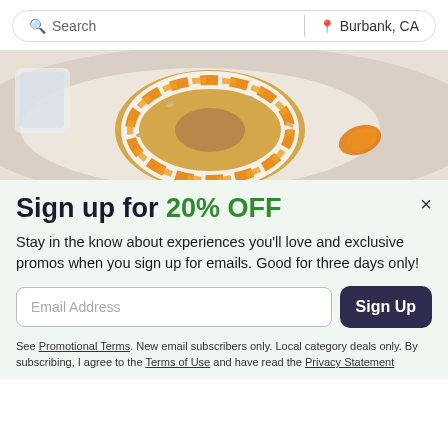Search  |  Burbank, CA
[Figure (photo): Close-up photo of a bagel topped with cream cheese and orange jam/jelly spread in a ring pattern]
Sign up for 20% OFF
Stay in the know about experiences you'll love and exclusive promos when you sign up for emails. Good for three days only!
Email Address  Sign Up
See Promotional Terms. New email subscribers only. Local category deals only. By subscribing, I agree to the Terms of Use and have read the Privacy Statement